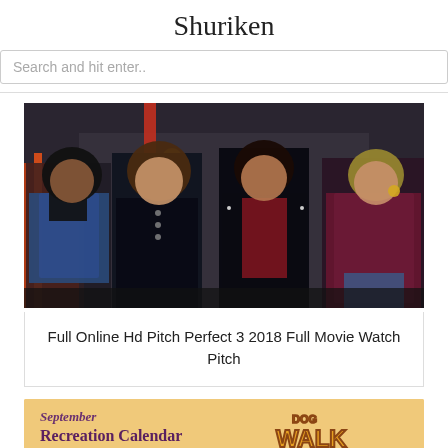Shuriken
Search and hit enter..
[Figure (photo): Four women standing together in a casual indoor setting, wearing stylish jackets and outfits.]
Full Online Hd Pitch Perfect 3 2018 Full Movie Watch Pitch
[Figure (infographic): Partial view of a Recreation Calendar card with orange/yellow background, purple text reading 'September' and 'Recreation Calendar', and a 'Dog Walk' logo on the right.]